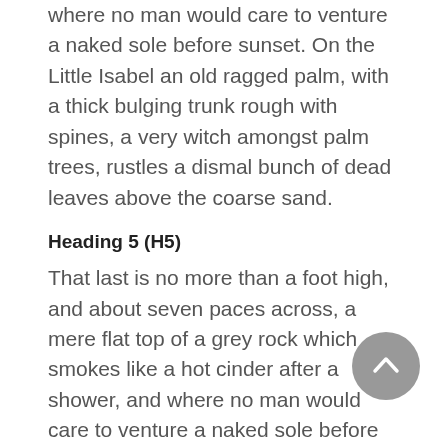where no man would care to venture a naked sole before sunset. On the Little Isabel an old ragged palm, with a thick bulging trunk rough with spines, a very witch amongst palm trees, rustles a dismal bunch of dead leaves above the coarse sand.
Heading 5 (H5)
That last is no more than a foot high, and about seven paces across, a mere flat top of a grey rock which smokes like a hot cinder after a shower, and where no man would care to venture a naked sole before sunset. On the Little Isabel an old ragged palm, with a thick bulging trunk rough with spines, a very witch amongst palm trees, rustles a dismal bunch of dead leaves above the coarse sand.
Heading 6 (H6)